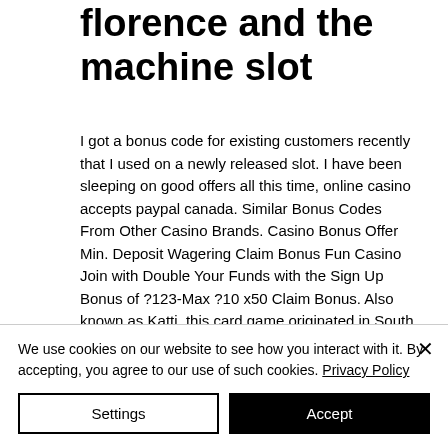florence and the machine slot
I got a bonus code for existing customers recently that I used on a newly released slot. I have been sleeping on good offers all this time, online casino accepts paypal canada. Similar Bonus Codes From Other Casino Brands. Casino Bonus Offer Min. Deposit Wagering Claim Bonus Fun Casino Join with Double Your Funds with the Sign Up Bonus of ?123-Max ?10 x50 Claim Bonus. Also known as Katti, this card game originated in South India (in Bangalore, to be exact) and quickly made its way all across the country.
We use cookies on our website to see how you interact with it. By accepting, you agree to our use of such cookies. Privacy Policy
Settings
Accept